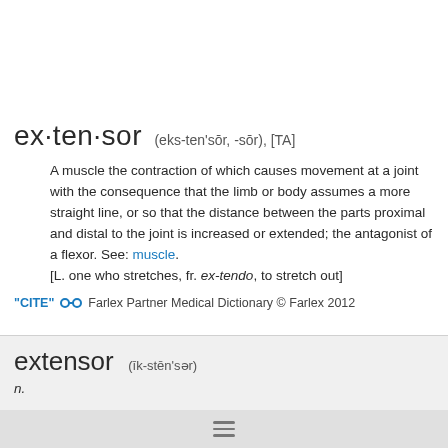ex·ten·sor  (eks-ten'sōr, -sōr), [TA]
A muscle the contraction of which causes movement at a joint with the consequence that the limb or body assumes a more straight line, or so that the distance between the parts proximal and distal to the joint is increased or extended; the antagonist of a flexor. See: muscle. [L. one who stretches, fr. ex-tendo, to stretch out]
"CITE" 🔗  Farlex Partner Medical Dictionary © Farlex 2012
extensor  (īk-stēn'sər)
n.